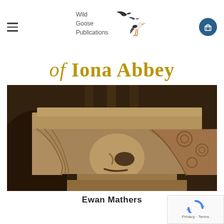Wild Goose Publications
of Iona Abbey
[Figure (photo): Stone carved capital of a column at Iona Abbey, showing a face with flowing hair in Romanesque style, sepia-toned photograph]
Ewan Mathers